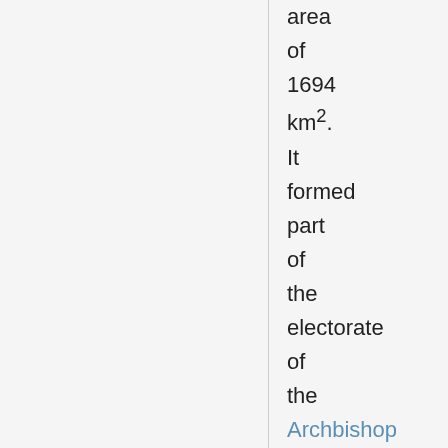area of 1694 km². It formed part of the electorate of the Archbishop of Mainz, and